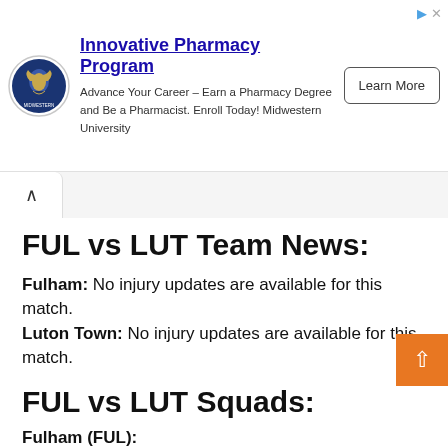[Figure (logo): Midwestern University circular logo with eagle/seal emblem]
Innovative Pharmacy Program
Advance Your Career – Earn a Pharmacy Degree and Be a Pharmacist. Enroll Today! Midwestern University
Learn More
FUL vs LUT Team News:
Fulham: No injury updates are available for this match.
Luton Town: No injury updates are available for this match.
FUL vs LUT Squads:
Fulham (FUL):
Paulo Gazzaniga(GK), Joe Bryan, Tim Ream, Tosin Adarabioye, Neco Williams, Harrison Reed,